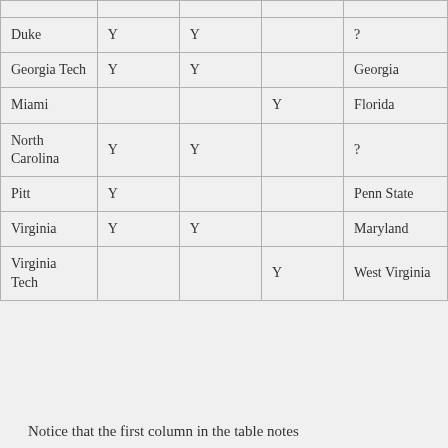|  |  |  |  |  |
| --- | --- | --- | --- | --- |
| Duke | Y | Y |  | ? |
| Georgia Tech | Y | Y |  | Georgia |
| Miami |  |  | Y | Florida |
| North Carolina | Y | Y |  | ? |
| Pitt | Y |  |  | Penn State |
| Virginia | Y | Y |  | Maryland |
| Virginia Tech |  |  | Y | West Virginia |
Notice that the first column in the table notes